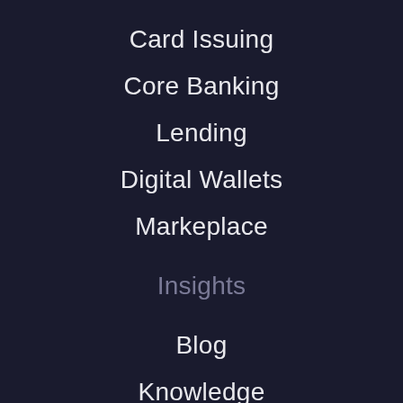Card Issuing
Core Banking
Lending
Digital Wallets
Markeplace
Insights
Blog
Knowledge
Events
About us
Pismo